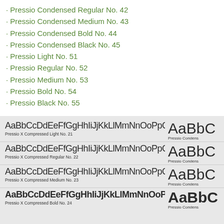· Pressio Condensed Regular No. 42
· Pressio Condensed Medium No. 43
· Pressio Condensed Bold No. 44
· Pressio Condensed Black No. 45
· Pressio Light No. 51
· Pressio Regular No. 52
· Pressio Medium No. 53
· Pressio Bold No. 54
· Pressio Black No. 55
[Figure (illustration): Font specimen display showing four Pressio X Compressed variants (Light No. 21, Regular No. 22, Medium No. 23, Bold No. 24) with alphabet specimens and corresponding Pressio Condensed variants on the right.]